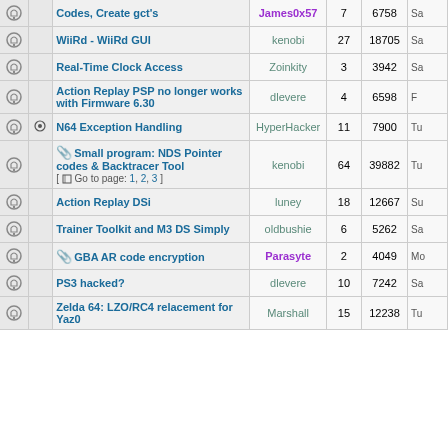|  |  | Topic | Author | Replies | Views | Last Post |
| --- | --- | --- | --- | --- | --- | --- |
|  |  | Codes, Create gct's | James0x57 | 7 | 6758 | Sa |
|  |  | WiiRd - WiiRd GUI | kenobi | 27 | 18705 | Sa |
|  |  | Real-Time Clock Access | Zoinkity | 3 | 3942 | Sa |
|  |  | Action Replay PSP no longer works with Firmware 6.30 | dlevere | 4 | 6598 | F |
|  |  | N64 Exception Handling | HyperHacker | 11 | 7900 | Tu |
|  |  | [paperclip] Small program: NDS Pointer codes & Backtracer Tool [ Go to page: 1, 2, 3 ] | kenobi | 64 | 39882 | Tu |
|  |  | Action Replay DSi | luney | 18 | 12667 | Su |
|  |  | Trainer Toolkit and M3 DS Simply | oldbushie | 6 | 5262 | Sa |
|  |  | [paperclip] GBA AR code encryption | Parasyte | 2 | 4049 | Mo |
|  |  | PS3 hacked? | dlevere | 10 | 7242 | Sa |
|  |  | Zelda 64: LZO/RC4 relacement for Yaz0 | Marshall | 15 | 12238 | Tu |